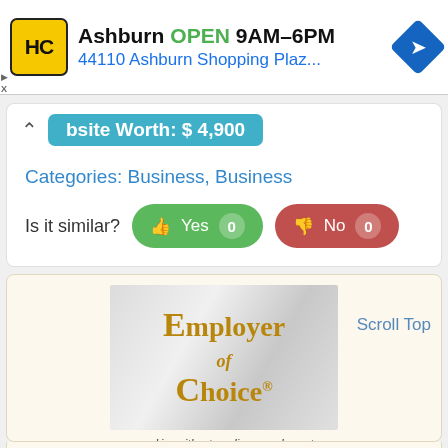[Figure (screenshot): Google Maps ad bar showing HC logo, Ashburn store, OPEN 9AM-6PM, 44110 Ashburn Shopping Plaz..., with navigation arrow icon]
Website Worth: $ 4,900
Categories: Business, Business
Is it similar?  Yes  0    No  0
[Figure (logo): Employer of Choice logo with gold serif text on marble background, tagline ...working with extraordinary employers to recognize their achievements]
Scroll Top
336-210-3548